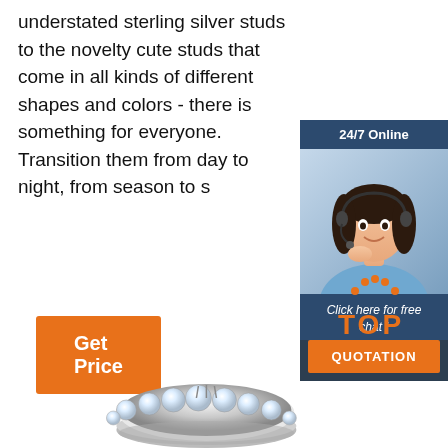understated sterling silver studs to the novelty cute studs that come in all kinds of different shapes and colors - there is something for everyone. Transition them from day to night, from season to s
[Figure (other): 24/7 Online chat widget with a customer service representative wearing a headset, with 'Click here for free chat!' text and a QUOTATION button]
Get Price
[Figure (logo): TOP icon with orange dots arranged in an arc above the word TOP in orange text]
[Figure (photo): A diamond eternity ring with multiple round diamonds set across the band, shown at an angle]